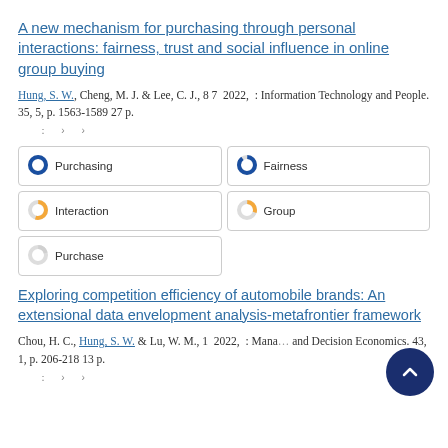A new mechanism for purchasing through personal interactions: fairness, trust and social influence in online group buying
Hung, S. W., Cheng, M. J. & Lee, C. J., 8 7 2022, : Information Technology and People. 35, 5, p. 1563-1589 27 p.
: › ›
[Figure (infographic): Keyword badges with donut chart indicators: Purchasing (100%), Fairness (90%), Interaction (55%), Group (30%), Purchase (20%)]
Exploring competition efficiency of automobile brands: An extensional data envelopment analysis-metafrontier framework
Chou, H. C., Hung, S. W. & Lu, W. M., 1 2022, : Managerial and Decision Economics. 43, 1, p. 206-218 13 p.
: › ›